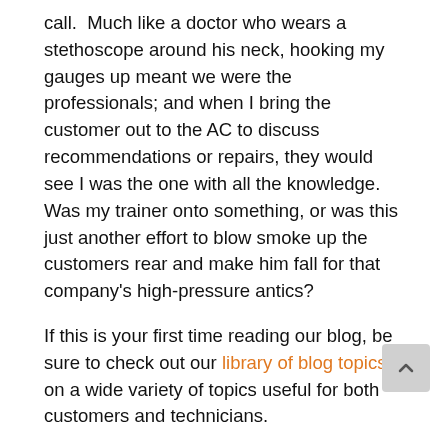call.  Much like a doctor who wears a stethoscope around his neck, hooking my gauges up meant we were the professionals; and when I bring the customer out to the AC to discuss recommendations or repairs, they would see I was the one with all the knowledge.  Was my trainer onto something, or was this just another effort to blow smoke up the customers rear and make him fall for that company's high-pressure antics?
If this is your first time reading our blog, be sure to check out our library of blog topics on a wide variety of topics useful for both customers and technicians.
Manifold Gauges: How They Work
Every residential air conditioner has a service valv... and by technicians to measure the and the...